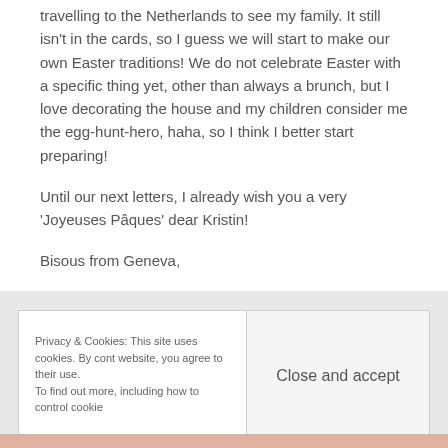travelling to the Netherlands to see my family. It still isn't in the cards, so I guess we will start to make our own Easter traditions! We do not celebrate Easter with a specific thing yet, other than always a brunch, but I love decorating the house and my children consider me the egg-hunt-hero, haha, so I think I better start preparing!
Until our next letters, I already wish you a very 'Joyeuses Pâques' dear Kristin!
Bisous from Geneva,
Privacy & Cookies: This site uses cookies. By cont website, you agree to their use. To find out more, including how to control cookie
Close and accept